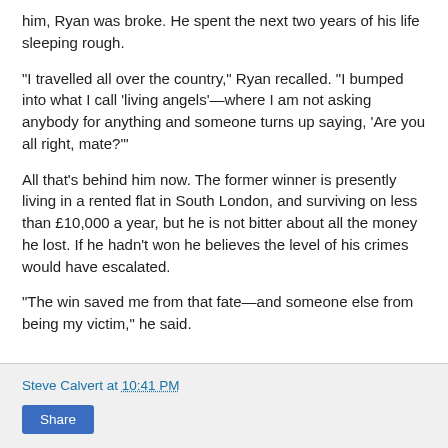him, Ryan was broke. He spent the next two years of his life sleeping rough.
"I travelled all over the country," Ryan recalled. "I bumped into what I call 'living angels'—where I am not asking anybody for anything and someone turns up saying, 'Are you all right, mate?'"
All that's behind him now. The former winner is presently living in a rented flat in South London, and surviving on less than £10,000 a year, but he is not bitter about all the money he lost. If he hadn't won he believes the level of his crimes would have escalated.
"The win saved me from that fate—and someone else from being my victim," he said.
Steve Calvert at 10:41 PM